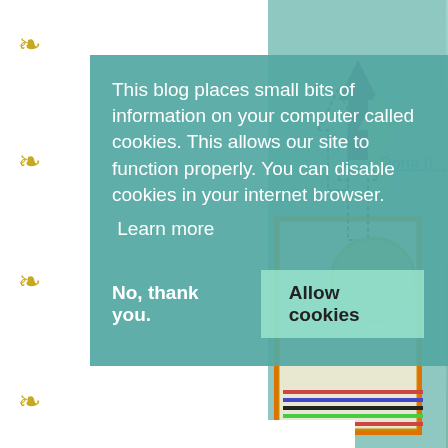[Figure (screenshot): Blog page screenshot showing a cookie consent overlay on a crafting blog (suestumping.com). Left side has white background with gold fleur-de-lis decorations. Right side shows a photo of a handmade card with arrows and a hedgehog illustration. Center shows a teal/muted green cookie consent modal.]
This blog places small bits of information on your computer called cookies. This allows our site to function properly. You can disable cookies in your internet browser.
Learn more
No, thank you.
Allow cookies
Dorte (i...